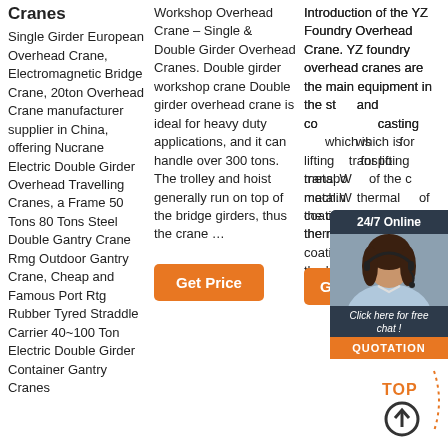Cranes
Single Girder European Overhead Crane, Electromagnetic Bridge Crane, 20ton Overhead Crane manufacturer supplier in China, offering Nucrane Electric Double Girder Overhead Travelling Cranes, a Frame 50 Tons 80 Tons Steel Double Gantry Crane Rmg Outdoor Gantry Crane, Cheap and Famous Port Rtg Rubber Tyred Straddle Carrier 40~100 Ton Electric Double Girder Container Gantry Cranes
Workshop Overhead Crane – Single & Double Girder Overhead Cranes. Double girder workshop crane Double girder overhead crane is ideal for heavy duty applications, and it can handle over 300 tons. The trolley and hoist generally run on top of the bridge girders, thus the crane …
[Figure (other): Orange 'Get Price' button]
Introduction of the YZ Foundry Overhead Crane. YZ foundry overhead cranes are the main equipment in the steel and construction casting industry, which is designed for lifting and transporting molten metal. With the help of the casting machines, thermal spraying coating is applied to the bottom of the main girder.
[Figure (photo): 24/7 Online chat widget with female customer service representative photo and 'Click here for free chat!' text, with orange QUOTATION button]
[Figure (other): Orange 'Get Price' button]
[Figure (other): TOP scroll-to-top button with dotted arc decoration and circle with upward arrow]